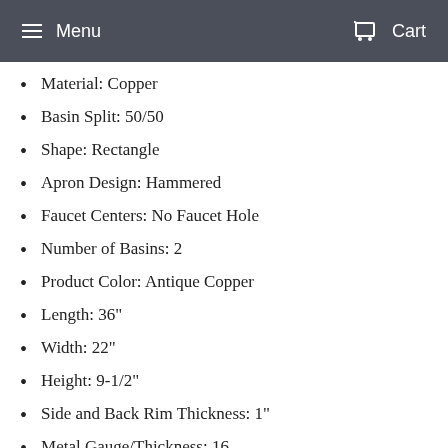Menu  Cart
Material: Copper
Basin Split: 50/50
Shape: Rectangle
Apron Design: Hammered
Faucet Centers: No Faucet Hole
Number of Basins: 2
Product Color: Antique Copper
Length: 36"
Width: 22"
Height: 9-1/2"
Side and Back Rim Thickness: 1"
Metal Gauge/Thickness: 16
Faucet Included: No